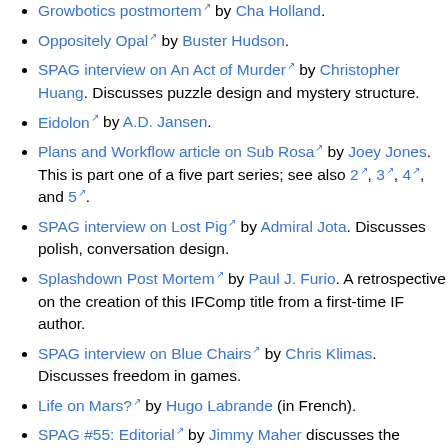Growbotics postmortem by Cha Holland.
Oppositely Opal by Buster Hudson.
SPAG interview on An Act of Murder by Christopher Huang. Discusses puzzle design and mystery structure.
Eidolon by A.D. Jansen.
Plans and Workflow article on Sub Rosa by Joey Jones. This is part one of a five part series; see also 2, 3, 4, and 5.
SPAG interview on Lost Pig by Admiral Jota. Discusses polish, conversation design.
Splashdown Post Mortem by Paul J. Furio. A retrospective on the creation of this IFComp title from a first-time IF author.
SPAG interview on Blue Chairs by Chris Klimas. Discusses freedom in games.
Life on Mars? by Hugo Labrande (in French).
SPAG #55: Editorial by Jimmy Maher discusses the making of The King of Shreds and Patches.